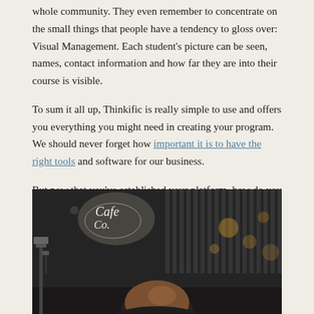whole community. They even remember to concentrate on the small things that people have a tendency to gloss over: Visual Management. Each student's picture can be seen, names, contact information and how far they are into their course is visible.
To sum it all up, Thinkific is really simple to use and offers you everything you might need in creating your program. We should never forget how important it is to have the right tools and software for our business.
But now that you've established your platform, how do you fill it up with students?
[Figure (photo): A person photographed from behind/side in a dark interior venue with neon signage in the background and bokeh lights.]